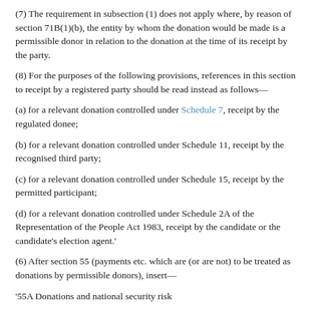(7) The requirement in subsection (1) does not apply where, by reason of section 71B(1)(b), the entity by whom the donation would be made is a permissible donor in relation to the donation at the time of its receipt by the party.
(8) For the purposes of the following provisions, references in this section to receipt by a registered party should be read instead as follows—
(a) for a relevant donation controlled under Schedule 7, receipt by the regulated donee;
(b) for a relevant donation controlled under Schedule 11, receipt by the recognised third party;
(c) for a relevant donation controlled under Schedule 15, receipt by the permitted participant;
(d) for a relevant donation controlled under Schedule 2A of the Representation of the People Act 1983, receipt by the candidate or the candidate's election agent.'
(6) After section 55 (payments etc. which are (or are not) to be treated as donations by permissible donors), insert—
'55A Donations and national security risk